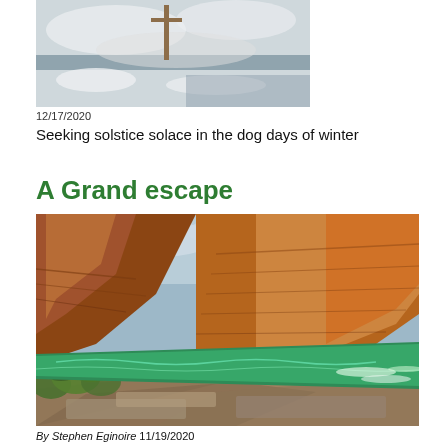[Figure (photo): Partial view of a snowy winter outdoor scene with a cross or pole visible, cropped at top]
12/17/2020
Seeking solstice solace in the dog days of winter
A Grand escape
[Figure (photo): Grand Canyon river canyon photo showing the Colorado River with towering red rock canyon walls and green riparian vegetation in foreground]
By Stephen Eginoire  11/19/2020